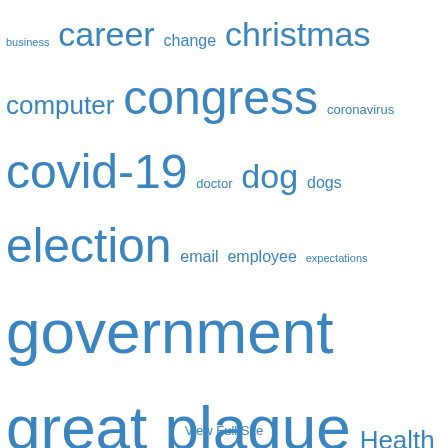[Figure (infographic): Tag cloud with words of varying sizes in blue, representing topics/categories. Words include: business, career, change, christmas, computer, congress, coronavirus, covid-19, doctor, dog, dogs, election, email, employee, expectations, government, great plague, Health, history, holiday, home, house, internet, iPhone, job, leadership, Life, management, maryland, meeting, Memphis, motivation, Moving, News, office, people, pet, plan, planning, politics, POTUS, president, priorities, productivity, professional, reading, republican, responsibility, retail, schedule, sick, sleep, Snow, social media, technology, television, telework, time, training, Travel, trump, vacation, vet, weather, weekend, work, writing]
View Full Site